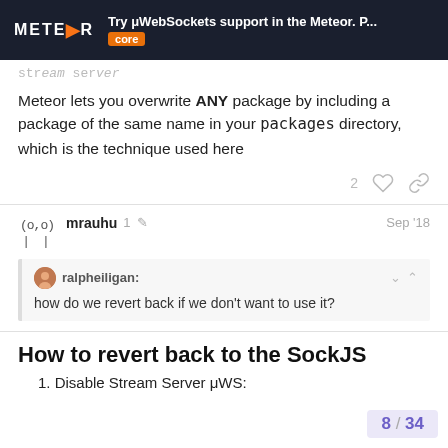Try μWebSockets support in the Meteor. P... | core
Meteor lets you overwrite ANY package by including a package of the same name in your packages directory, which is the technique used here
mrauhu  1  Sep '18
ralpheiligan: how do we revert back if we don't want to use it?
How to revert back to the SockJS
1. Disable Stream Server μWS:
8 / 34